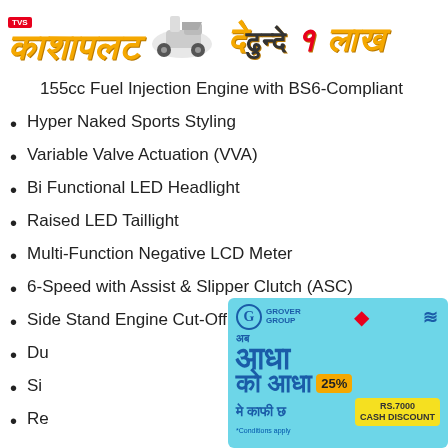[Figure (illustration): TVS promotional banner with Devanagari text in orange/yellow, scooter/bike images, and text in Hindi script on white background]
155cc Fuel Injection Engine with BS6-Compliant
Hyper Naked Sports Styling
Variable Valve Actuation (VVA)
Bi Functional LED Headlight
Raised LED Taillight
Multi-Function Negative LCD Meter
6-Speed with Assist & Slipper Clutch (ASC)
Side Stand Engine Cut-Off Switch
Du[partially obscured by ad]
Si[partially obscured by ad]
Re[partially obscured by ad]
[Figure (illustration): Bajaj advertisement overlay: light blue background with Hindi text 'आब आधा को आधा मे काफी छ', 25% badge, RS.7000 CASH DISCOUNT badge, Bajaj logo, G logo, red diamond shapes, and a person with curly hair]